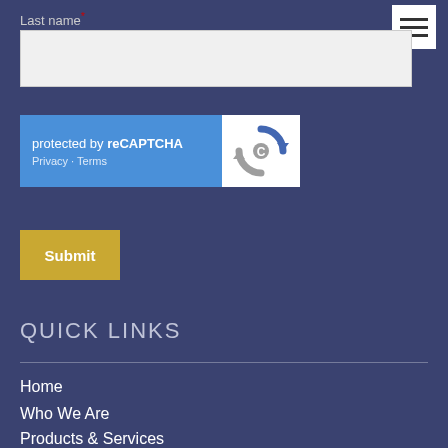Last name *
[Figure (screenshot): reCAPTCHA widget with 'protected by reCAPTCHA' text, Privacy and Terms links on blue background, and reCAPTCHA logo on white background]
Submit
QUICK LINKS
Home
Who We Are
Products & Services